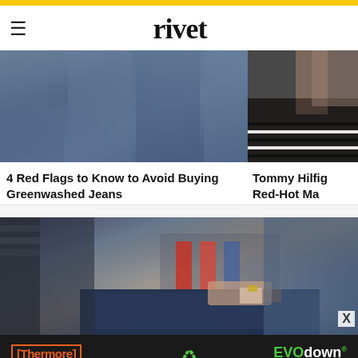rivet
[Figure (photo): Close-up of denim jeans fabric]
[Figure (photo): Woman near piano, partially cropped]
4 Red Flags to Know to Avoid Buying Greenwashed Jeans
Tommy Hilfig Red-Hot Ma
[Figure (photo): Person in denim jacket examining jeans label in a clothing store]
[Figure (other): Advertisement: Thermore Insulation Experts Since 1972 / EVO down FULLY RECYCLED]